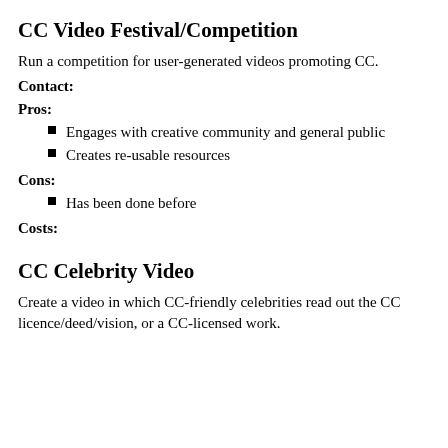CC Video Festival/Competition
Run a competition for user-generated videos promoting CC.
Contact:
Pros:
Engages with creative community and general public
Creates re-usable resources
Cons:
Has been done before
Costs:
CC Celebrity Video
Create a video in which CC-friendly celebrities read out the CC licence/deed/vision, or a CC-licensed work.